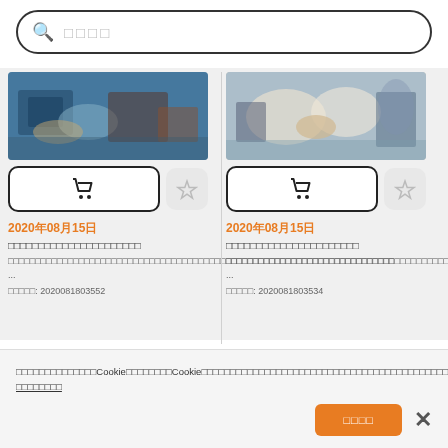□□□□ (search bar placeholder)
[Figure (photo): Food/restaurant photo on blue background with dark accents]
[Figure (photo): Food buffet/catering photo with dishes and glasses]
2020年08月15日
□□□□□□□□□□□□□□□□□□□□□□
□□□□□□□□□□□□□□□□□□□□□□□□□□□□□□□□□□□□□□□□□□□□□□□□□□□□□□□□□□□□□□□□□□□□□□□□□ ...
□□□□□: 2020081803552
2020年08月15日
□□□□□□□□□□□□□□□□□□□□□□
□□□□□□□□□□□□□□□□□□□□□□□□□□□□□□□□□□□□□□□□□□□□□□□□□□□□□□□□□□□□□□□□□□□□□□□□□ ...
□□□□□: 2020081803534
□□□□□□□□□□□□□□Cookie□□□□□□□□Cookie□□□□□□□□□□□□□□□□□□□□□□□□□□□□□□□□□□□□□□□□□□□□□□□□□□□□□□□□Cookie□□□□□□□□□□□□□□□□□□ □□□□□□□□